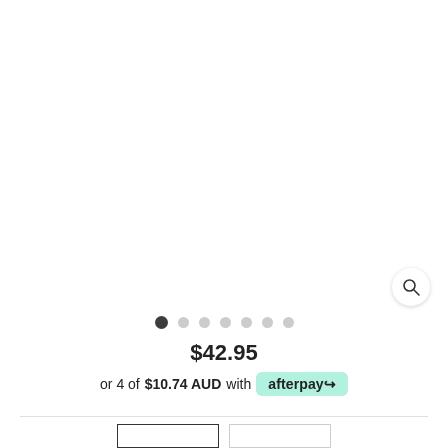[Figure (photo): Product image area — blank white space for product photo]
$42.95
or 4 of $10.74 AUD with afterpay